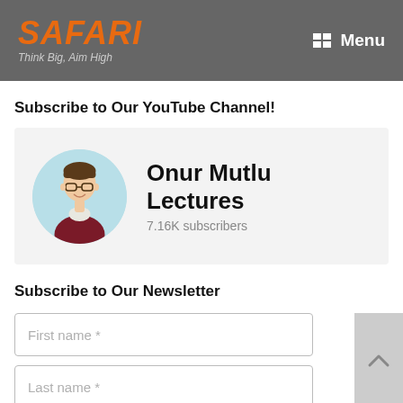SAFARI — Think Big, Aim High | Menu
Subscribe to Our YouTube Channel!
[Figure (other): YouTube channel card showing Onur Mutlu Lectures with a circular portrait photo and 7.16K subscribers]
Subscribe to Our Newsletter
First name *
Last name *